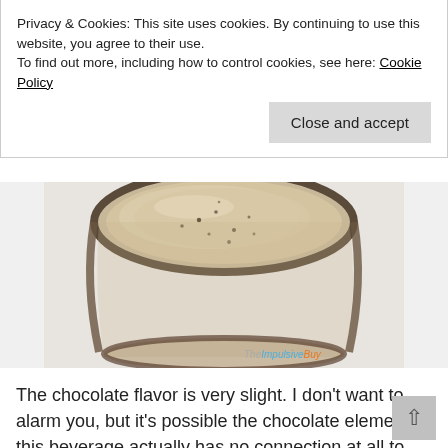Privacy & Cookies: This site uses cookies. By continuing to use this website, you agree to their use.
To find out more, including how to control cookies, see here: Cookie Policy
Close and accept
[Figure (photo): Top-down view of a creamy beige drink in a clear glass, with small dark speckles visible on the surface. The ImpulsiveBuy watermark appears in the bottom right corner.]
The chocolate flavor is very slight. I don’t want to alarm you, but it’s possible the chocolate element in this beverage actually has no connection at all to Switzerland, and “Swiss” was